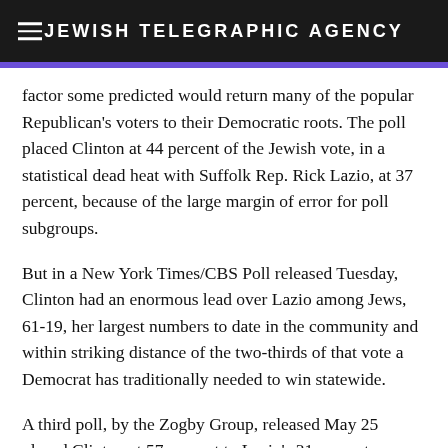JEWISH TELEGRAPHIC AGENCY
factor some predicted would return many of the popular Republican's voters to their Democratic roots. The poll placed Clinton at 44 percent of the Jewish vote, in a statistical dead heat with Suffolk Rep. Rick Lazio, at 37 percent, because of the large margin of error for poll subgroups.
But in a New York Times/CBS Poll released Tuesday, Clinton had an enormous lead over Lazio among Jews, 61-19, her largest numbers to date in the community and within striking distance of the two-thirds of that vote a Democrat has traditionally needed to win statewide.
A third poll, by the Zogby Group, released May 25 placed Clinton at 57 percent to Lazio's 31 percent.
While the Times survey offers the Clinton campaign its best